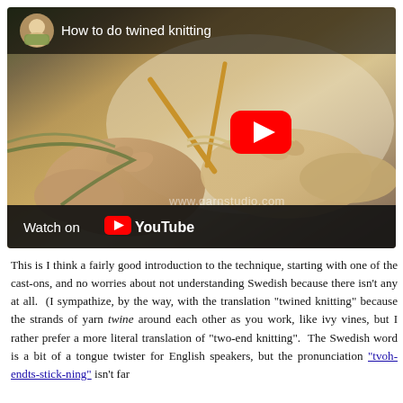[Figure (screenshot): YouTube video embed showing 'How to do twined knitting' with a thumbnail of hands knitting with needles and yarn, a red play button overlay, a channel avatar, and a 'Watch on YouTube' bar at the bottom. Watermark text reads 'www.garnstudio.com'.]
This is I think a fairly good introduction to the technique, starting with one of the cast-ons, and no worries about not understanding Swedish because there isn't any at all.  (I sympathize, by the way, with the translation "twined knitting" because the strands of yarn twine around each other as you work, like ivy vines, but I rather prefer a more literal translation of "two-end knitting".  The Swedish word is a bit of a tongue twister for English speakers, but the pronunciation "tvoh-endts-stick-ning" isn't far